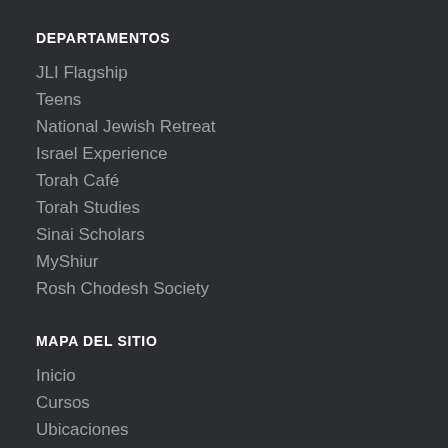DEPARTAMENTOS
JLI Flagship
Teens
National Jewish Retreat
Israel Experience
Torah Café
Torah Studies
Sinai Scholars
MyShiur
Rosh Chodesh Society
MAPA DEL SITIO
Inicio
Cursos
Ubicaciones
Vacaciones